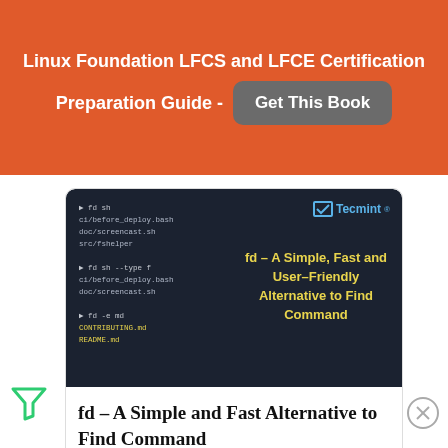[Figure (infographic): Orange banner advertisement for Linux Foundation LFCS and LFCE Certification Preparation Guide with a 'Get This Book' button]
[Figure (screenshot): Dark terminal/code screenshot showing fd command usage with Tecmint logo and text 'fd - A Simple, Fast and User-Friendly Alternative to Find Command' in yellow]
fd – A Simple and Fast Alternative to Find Command